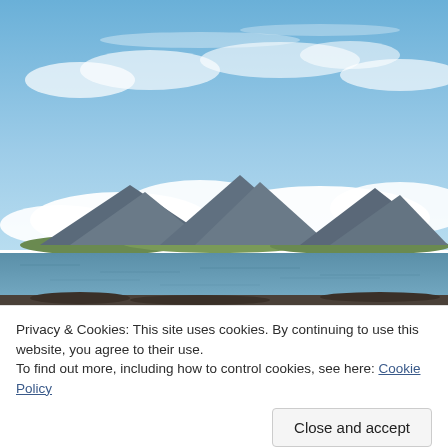[Figure (photo): Landscape photograph showing a Scottish coastal scene with blue sky and white clouds, mountains in the distance across a body of calm water, with green lowland islands visible at the base of the mountains.]
Privacy & Cookies: This site uses cookies. By continuing to use this website, you agree to their use.
To find out more, including how to control cookies, see here: Cookie Policy
Close and accept
[Figure (photo): Partial view of a beach scene at the very bottom of the page.]